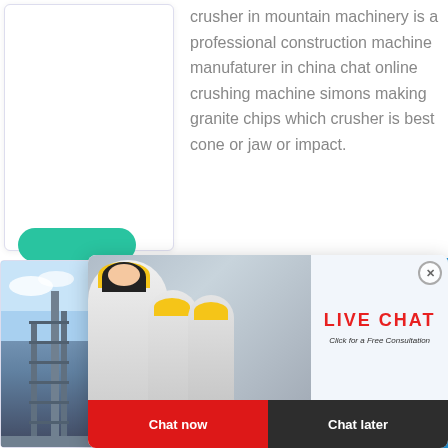crusher in mountain machinery is a professional construction machine manufaturer in china chat online crushing machine simons making granite chips which crusher is best cone or jaw or impact.
[Figure (photo): Live chat popup overlay showing construction workers in yellow hard hats with 'LIVE CHAT - Click for a Free Consultation' text, Chat now button in red and Chat later button in dark grey]
[Figure (photo): Right sidebar with blue background showing a crusher machine image, 'hour online' text, 'Click me to chat>>' button, and 'Enquiry' button]
[Figure (photo): Bottom section showing a building/construction site photo on the left and text about manganese primary crusher supplies - PIADINABA on the right]
manganes primary cr supplies - PIADINABA
Manganese Primary